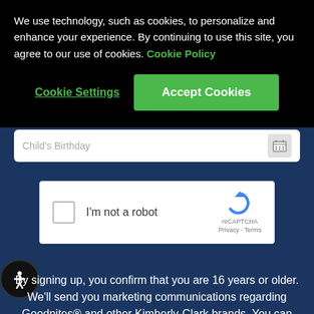We use technology, such as cookies, to personalize and enhance your experience. By continuing to use this site, you agree to our use of cookies. Cookie Policy
Cookie Settings
Accept Cookies
Child's Birthday
[Figure (other): reCAPTCHA widget with checkbox labeled 'I'm not a robot', reCAPTCHA logo and Privacy - Terms links]
By signing up, you confirm that you are 16 years or older. We'll send you marketing communications regarding Goodnites® and other Kimberly-Clark brands. You can unsubscribe at any time.